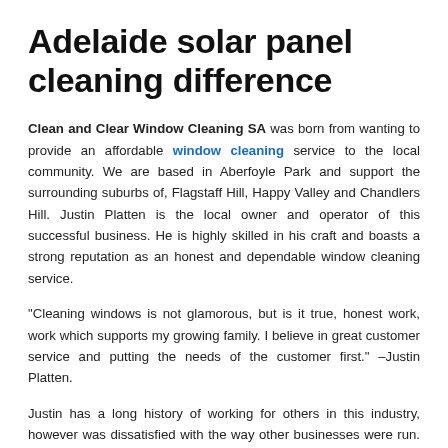Adelaide solar panel cleaning difference
Clean and Clear Window Cleaning SA was born from wanting to provide an affordable window cleaning service to the local community. We are based in Aberfoyle Park and support the surrounding suburbs of, Flagstaff Hill, Happy Valley and Chandlers Hill. Justin Platten is the local owner and operator of this successful business. He is highly skilled in his craft and boasts a strong reputation as an honest and dependable window cleaning service.
“Cleaning windows is not glamorous, but is it true, honest work, work which supports my growing family. I believe in great customer service and putting the needs of the customer first.” –Justin Platten.
Justin has a long history of working for others in this industry, however was dissatisfied with the way other businesses were run. Importantly, he noticed a distinct lack of respect for the